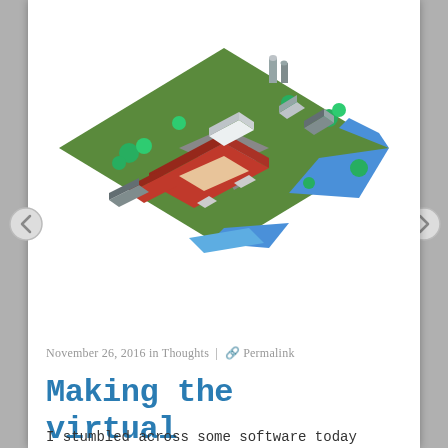[Figure (screenshot): Isometric Minecraft-style render of a campus or town with red brick buildings, green areas, blue water, and grey roads, viewed from above at an angle.]
November 26, 2016 in Thoughts | 🔗 Permalink
Making the virtual physical
I stumbled across some software today called